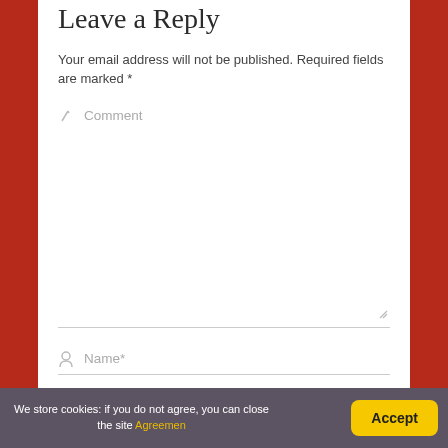Leave a Reply
Your email address will not be published. Required fields are marked *
Comment
Name*
Email*
Website
We store cookies: if you do not agree, you can close the site Agreemen
Accept